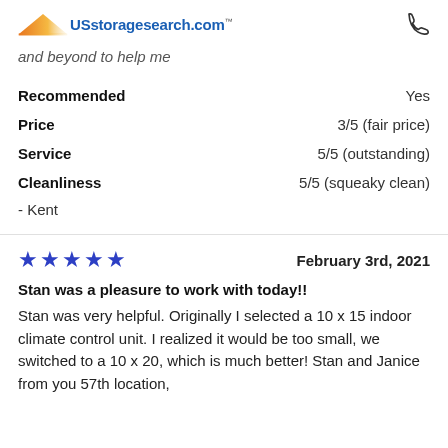USstoragesearch.com
and beyond to help me
Recommended    Yes
Price    3/5 (fair price)
Service    5/5 (outstanding)
Cleanliness    5/5 (squeaky clean)
- Kent
★★★★★    February 3rd, 2021
Stan was a pleasure to work with today!!
Stan was very helpful. Originally I selected a 10 x 15 indoor climate control unit. I realized it would be too small, we switched to a 10 x 20, which is much better! Stan and Janice from you 57th location,